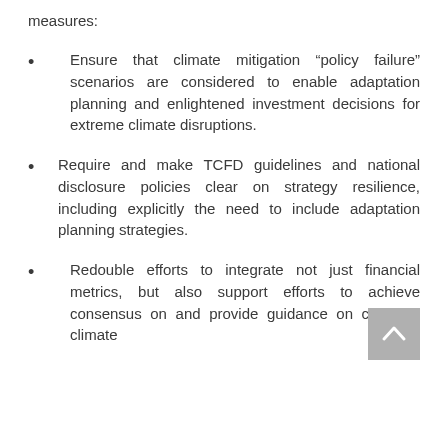measures:
Ensure that climate mitigation “policy failure” scenarios are considered to enable adaptation planning and enlightened investment decisions for extreme climate disruptions.
Require and make TCFD guidelines and national disclosure policies clear on strategy resilience, including explicitly the need to include adaptation planning strategies.
Redouble efforts to integrate not just financial metrics, but also support efforts to achieve consensus on and provide guidance on coherent climate